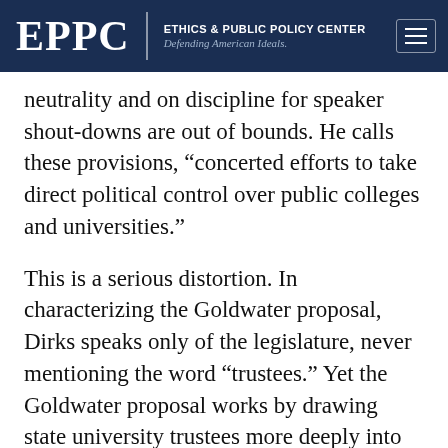EPPC | ETHICS & PUBLIC POLICY CENTER Defending American Ideals.
neutrality and on discipline for speaker shout-downs are out of bounds. He calls these provisions, “concerted efforts to take direct political control over public colleges and universities.”
This is a serious distortion. In characterizing the Goldwater proposal, Dirks speaks only of the legislature, never mentioning the word “trustees.” Yet the Goldwater proposal works by drawing state university trustees more deeply into the management of free-speech related issues. And of course, trustees are a public university’s rightful governing body. With